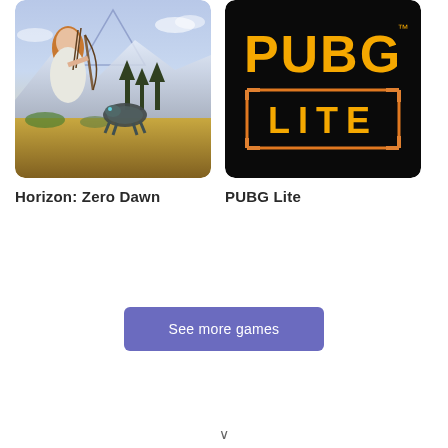[Figure (photo): Horizon: Zero Dawn game cover art showing a female warrior character with a bow against a fantasy landscape with mechanical creatures]
Horizon: Zero Dawn
[Figure (photo): PUBG Lite game logo on black background - yellow bold text reading PUBG LITE with orange border box]
PUBG Lite
See more games